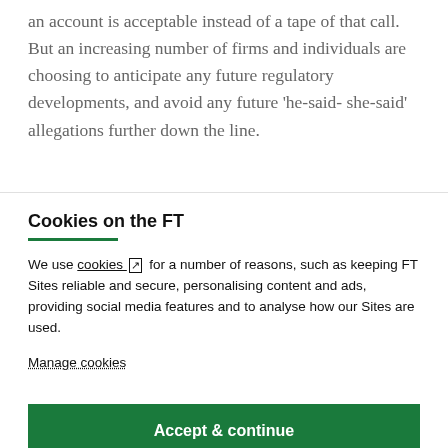an account is acceptable instead of a tape of that call. But an increasing number of firms and individuals are choosing to anticipate any future regulatory developments, and avoid any future ‘he-said- she-said’ allegations further down the line.
Cookies on the FT
We use cookies ↗ for a number of reasons, such as keeping FT Sites reliable and secure, personalising content and ads, providing social media features and to analyse how our Sites are used.
Manage cookies
Accept & continue